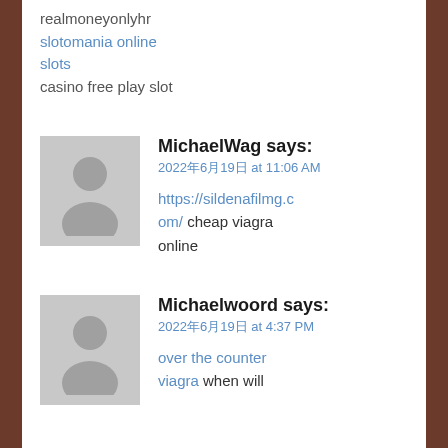realmoneyonlyhr
slotomania online slots
casino free play slot
MichaelWag says:
2022年6月19日 at 11:06 AM
https://sildenafilmg.com/ cheap viagra online
Michaelwoord says:
2022年6月19日 at 4:37 PM
over the counter viagra when will